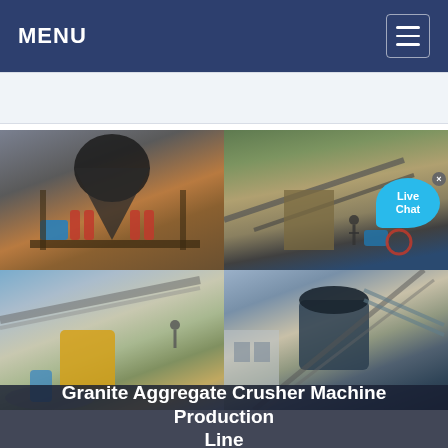MENU
[Figure (photo): Four-panel image grid showing granite aggregate crusher machine production line equipment: top-left shows a cone crusher on a metal frame with red and blue components; top-right shows a quarry processing facility with conveyors and machinery on a hillside with a Live Chat button overlay; bottom-left shows a yellow crusher with conveyor belts and aggregate piles; bottom-right shows a large vertical shaft impact crusher with conveyor systems in an open-air facility]
Granite Aggregate Crusher Machine Production Line